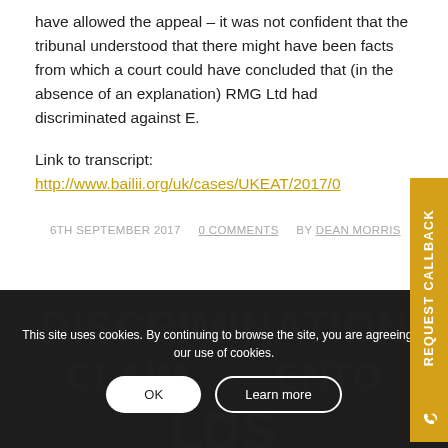have allowed the appeal – it was not confident that the tribunal understood that there might have been facts from which a court could have concluded that (in the absence of an explanation) RMG Ltd had discriminated against E.
Link to transcript: http://www.bailii.org/uk/cases/UKEAT/2017/0
6TH SEPTEMBER 2017   0 COMMENTS   BY DEAN MORRIS
DISCRIMINATION
CLAIM
LDS
This site uses cookies. By continuing to browse the site, you are agreeing to our use of cookies.